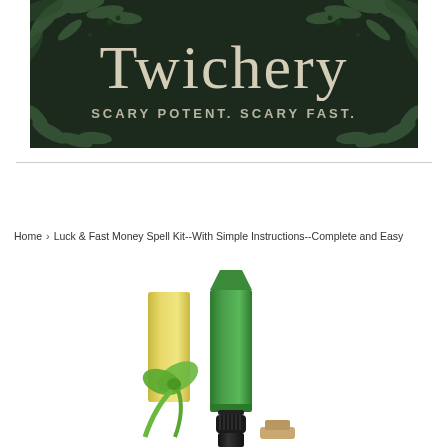[Figure (logo): Twichery brand banner with dark background and botanical leaf illustrations. Large serif text reads 'Twichery' with tagline 'SCARY POTENT. SCARY FAST.' in white/cream lettering.]
Home › Luck & Fast Money Spell Kit--With Simple Instructions--Complete and Easy
[Figure (photo): Product photo showing a green taper candle, small black dropper bottle with oil, yellow/cream pillar candle, and green ribbon bow arranged together on white background.]